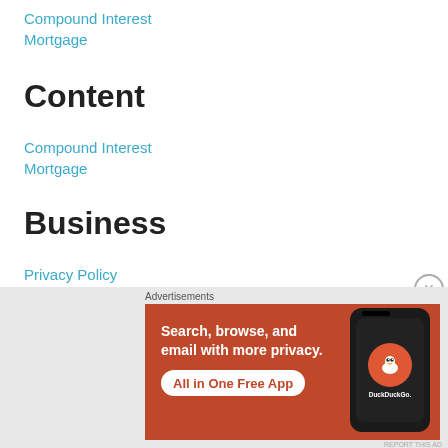Compound Interest
Mortgage
Content
Compound Interest
Mortgage
Business
Privacy Policy
[Figure (other): DuckDuckGo advertisement banner with orange background. Text reads: Search, browse, and email with more privacy. All in One Free App. Shows a phone with DuckDuckGo logo.]